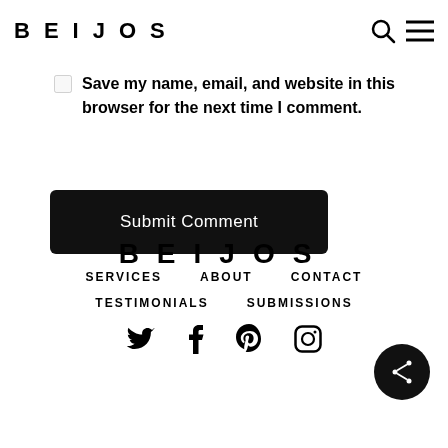BEIJOS
Save my name, email, and website in this browser for the next time I comment.
Submit Comment
[Figure (logo): BEIJOS logo centered in footer area]
SERVICES
ABOUT
CONTACT
TESTIMONIALS
SUBMISSIONS
[Figure (illustration): Social media icons: Twitter, Facebook, Pinterest, Instagram]